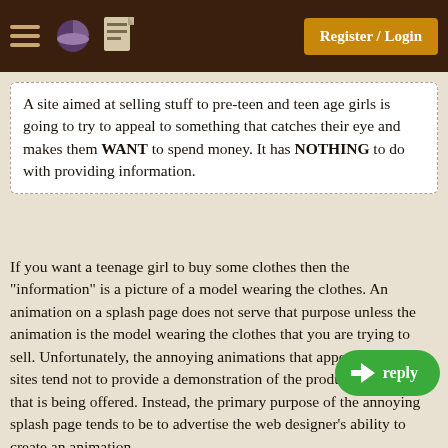Register / Login
A site aimed at selling stuff to pre-teen and teen age girls is going to try to appeal to something that catches their eye and makes them WANT to spend money. It has NOTHING to do with providing information.
If you want a teenage girl to buy some clothes then the "information" is a picture of a model wearing the clothes. An animation on a splash page does not serve that purpose unless the animation is the model wearing the clothes that you are trying to sell. Unfortunately, the annoying animations that appear on web sites tend not to provide a demonstration of the product or service that is being offered. Instead, the primary purpose of the annoying splash page tends to be to advertise the web designer’s ability to create an animation.
A person that is surfing the web in search of information or a product or a service is actively trying something and probably wants to accomplish that task quickly. An annoying splash page only slows the
[Figure (screenshot): Green reply button with back arrow icon in bottom right corner]